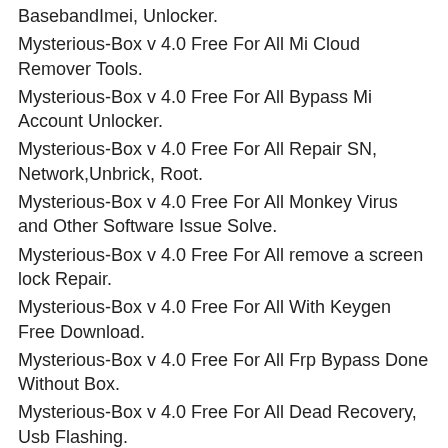BasebandImei, Unlocker.
Mysterious-Box v 4.0 Free For All Mi Cloud Remover Tools.
Mysterious-Box v 4.0 Free For All Bypass Mi Account Unlocker.
Mysterious-Box v 4.0 Free For All Repair SN, Network,Unbrick, Root.
Mysterious-Box v 4.0 Free For All Monkey Virus and Other Software Issue Solve.
Mysterious-Box v 4.0 Free For All remove a screen lock Repair.
Mysterious-Box v 4.0 Free For All With Keygen Free Download.
Mysterious-Box v 4.0 Free For All Frp Bypass Done Without Box.
Mysterious-Box v 4.0 Free For All Dead Recovery, Usb Flashing.